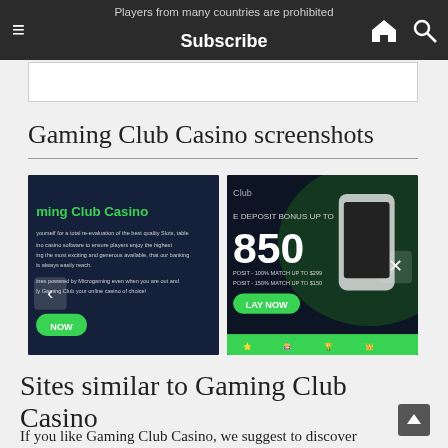Players from many countries are prohibited  Subscribe  🏠  🔍
Gaming Club Casino screenshots
[Figure (screenshot): Two side-by-side screenshots of the Gaming Club Casino website and mobile app, showing dark-themed casino interface with green branding, bonus offers up to $850, and navigation elements.]
Sites similar to Gaming Club Casino
If you like Gaming Club Casino, we suggest to discover